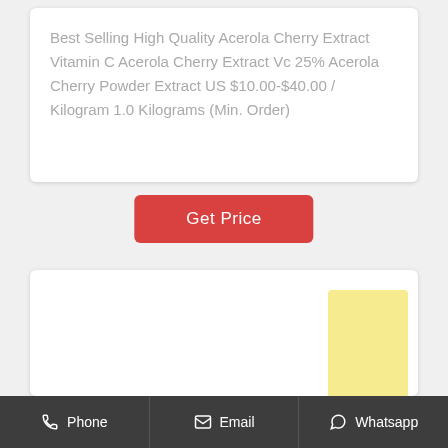Best Selling High Quality Acerola Cherry Extract Vitamin C Acerola Cherry Extract Vc 25% Acerola Cherry Powder Extract US $10.00-$40.00 / Kilogram 1.0 Kilograms (Min. Order)
Get Price
[Figure (other): White card with yellow rectangular accent element in the upper right area, presumably a product image placeholder.]
Phone   Email   Whatsapp